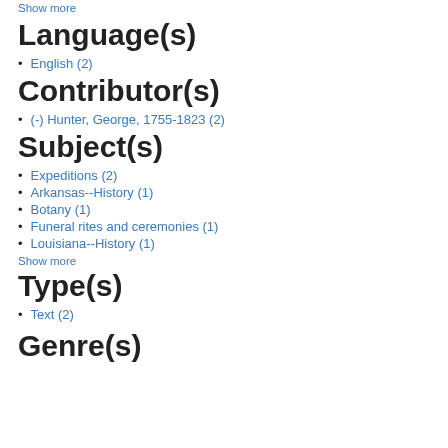Show more
Language(s)
English (2)
Contributor(s)
(-) Hunter, George, 1755-1823 (2)
Subject(s)
Expeditions (2)
Arkansas--History (1)
Botany (1)
Funeral rites and ceremonies (1)
Louisiana--History (1)
Show more
Type(s)
Text (2)
Genre(s)